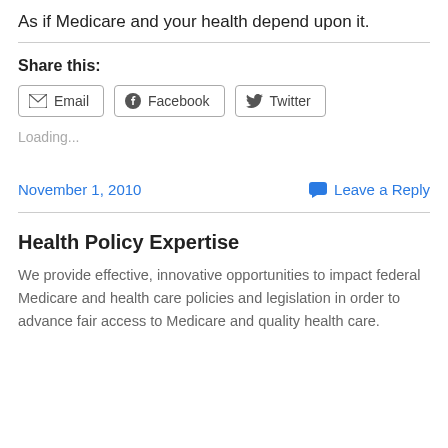As if Medicare and your health depend upon it.
Share this:
[Figure (other): Share buttons for Email, Facebook, and Twitter]
Loading...
November 1, 2010
Leave a Reply
Health Policy Expertise
We provide effective, innovative opportunities to impact federal Medicare and health care policies and legislation in order to advance fair access to Medicare and quality health care.